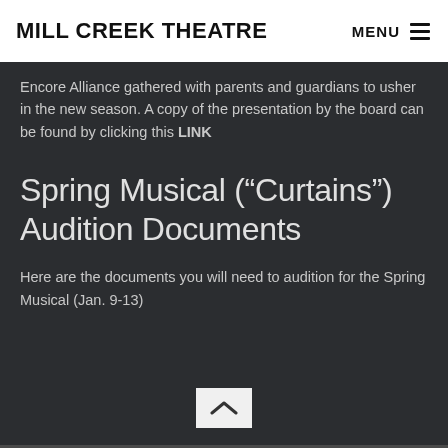MILL CREEK THEATRE
Encore Alliance gathered with parents and guardians to usher in the new season. A copy of the presentation by the board can be found by clicking this LINK
Spring Musical (“Curtains”) Audition Documents
Here are the documents you will need to audition for the Spring Musical (Jan. 9-13)